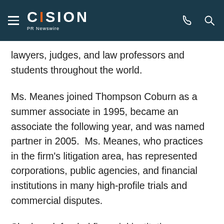CISION PR Newswire
lawyers, judges, and law professors and students throughout the world.
Ms. Meanes joined Thompson Coburn as a summer associate in 1995, became an associate the following year, and was named partner in 2005.  Ms. Meanes, who practices in the firm's litigation area, has represented corporations, public agencies, and financial institutions in many high-profile trials and commercial disputes.
She has defended financial institutions on liability matters; managed and negotiated over 200 complex